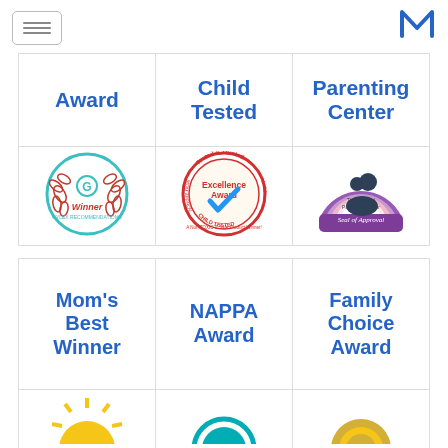Navigation menu and logo M
| Award | Child Tested | Parenting Center |
| --- | --- | --- |
| [Green Circle Award badge - Winner] | [MAC Awards - Child Tested Excellence Award badge] | [The National Parenting Center Seal of Approval badge] |
| Mom's Best Winner | NAPPA Award | Family Choice Award |
| --- | --- | --- |
| [Mom's Best sun award badge] | [NAPPA teal badge] | [Family Choice gold medal badge] |